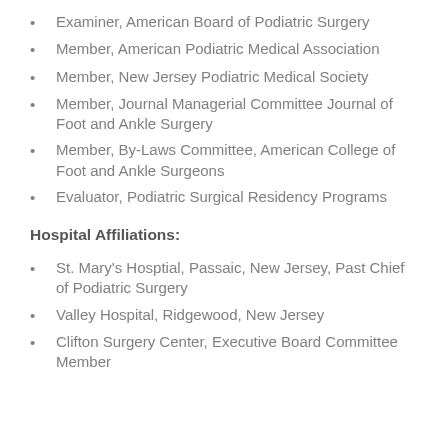Examiner, American Board of Podiatric Surgery
Member, American Podiatric Medical Association
Member, New Jersey Podiatric Medical Society
Member, Journal Managerial Committee Journal of Foot and Ankle Surgery
Member, By-Laws Committee, American College of Foot and Ankle Surgeons
Evaluator, Podiatric Surgical Residency Programs
Hospital Affiliations:
St. Mary's Hosptial, Passaic, New Jersey, Past Chief of Podiatric Surgery
Valley Hospital, Ridgewood, New Jersey
Clifton Surgery Center, Executive Board Committee Member